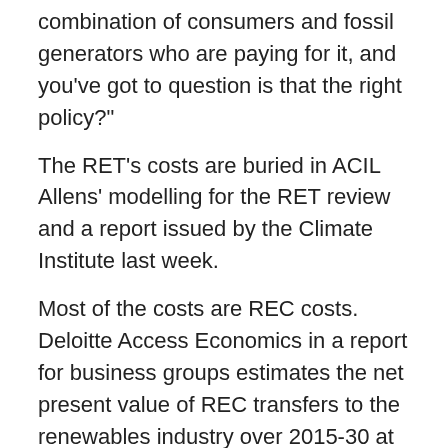combination of consumers and fossil generators who are paying for it, and you've got to question is that the right policy?"
The RET's costs are buried in ACIL Allens' modelling for the RET review and a report issued by the Climate Institute last week.
Most of the costs are REC costs. Deloitte Access Economics in a report for business groups estimates the net present value of REC transfers to the renewables industry over 2015-30 at $17 billion, compared with $8 billion to $9 billion if the RET is closed or the target is wound back to a true 20 per cent of energy supplied.
When REC costs are included, retail bills are higher until at least 2020, after which opinions diverge.